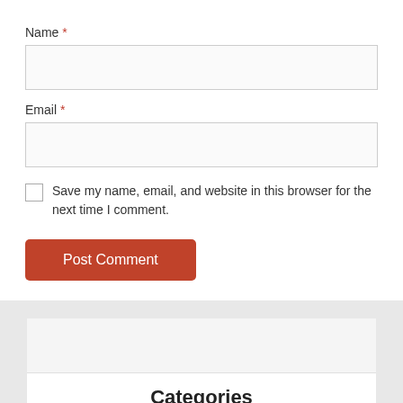Name *
Email *
Save my name, email, and website in this browser for the next time I comment.
Post Comment
Categories
Android 15